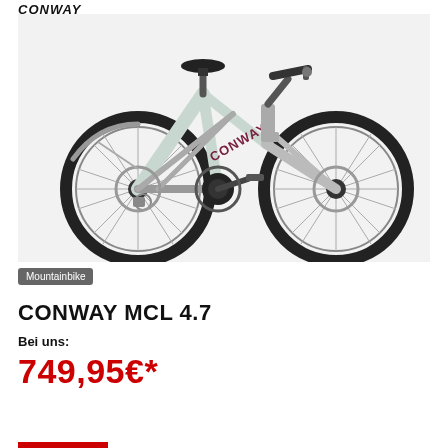CONWAY
[Figure (photo): Conway MCL 4.7 mountain bike in light grey/mint color with dark red accents, front suspension fork, disc brakes, two wheels with spokes, derailleur gearing, viewed from the left side.]
Mountainbike
CONWAY MCL 4.7
Bei uns:
749,95€*